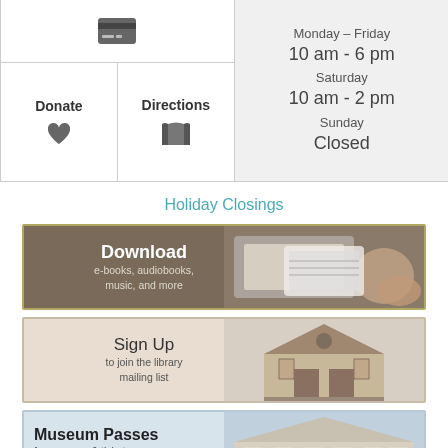| [credit card icon] |  | Monday - Friday
10 am - 6 pm
Saturday
10 am - 2 pm
Sunday
Closed |
| Donate [heart] | Directions [book] |  |
Holiday Closings
[Figure (infographic): Download banner: brown background with image of hands holding tablet, text reads 'Download e-books, audiobooks, music, and more']
[Figure (infographic): Sign Up banner: beige background with image of miniature library building, text reads 'Sign Up to join the library mailing list']
[Figure (infographic): Museum Passes banner: light blue background with image of classical museum building, text reads 'Museum Passes free passes & tickets to local museums']